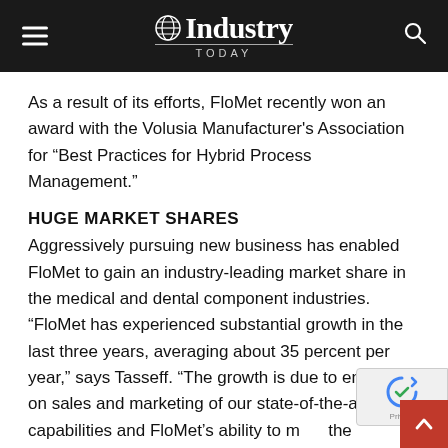Industry Today
As a result of its efforts, FloMet recently won an award with the Volusia Manufacturer's Association for “Best Practices for Hybrid Process Management.”
HUGE MARKET SHARES
Aggressively pursuing new business has enabled FloMet to gain an industry-leading market share in the medical and dental component industries. “FloMet has experienced substantial growth in the last three years, averaging about 35 percent per year,” says Tasseff. “The growth is due to emphasis on sales and marketing of our state-of-the-art capabilities and FloMet’s ability to meet the expectations of its demanding customer base.”